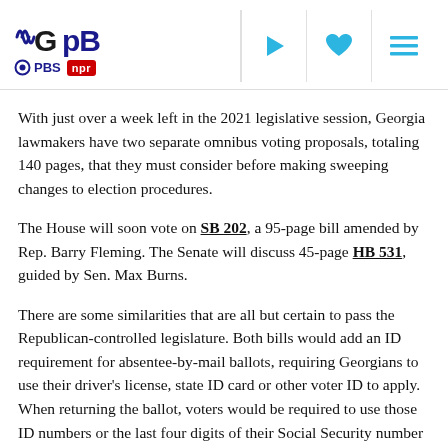GPB | PBS | NPR — navigation header with play, favorite, and menu icons
With just over a week left in the 2021 legislative session, Georgia lawmakers have two separate omnibus voting proposals, totaling 140 pages, that they must consider before making sweeping changes to election procedures.
The House will soon vote on SB 202, a 95-page bill amended by Rep. Barry Fleming. The Senate will discuss 45-page HB 531, guided by Sen. Max Burns.
There are some similarities that are all but certain to pass the Republican-controlled legislature. Both bills would add an ID requirement for absentee-by-mail ballots, requiring Georgians to use their driver's license, state ID card or other voter ID to apply. When returning the ballot, voters would be required to use those ID numbers or the last four digits of their Social Security number to verify who